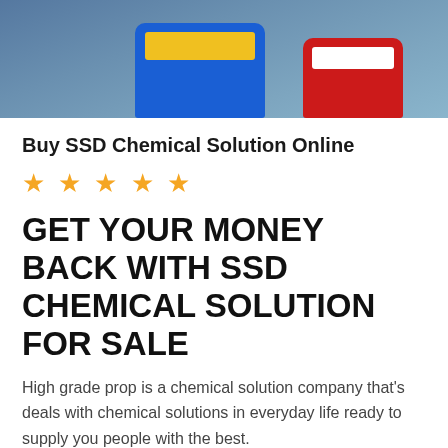[Figure (photo): Photo of blue and red chemical solution bottles/containers on a blue surface, viewed from above/side angle]
Buy SSD Chemical Solution Online
★ ★ ★ ★ ★
GET YOUR MONEY BACK WITH SSD CHEMICAL SOLUTION FOR SALE
High grade prop is a chemical solution company that's deals with chemical solutions in everyday life ready to supply you people with the best.
This product chemical solution is the first thing you need